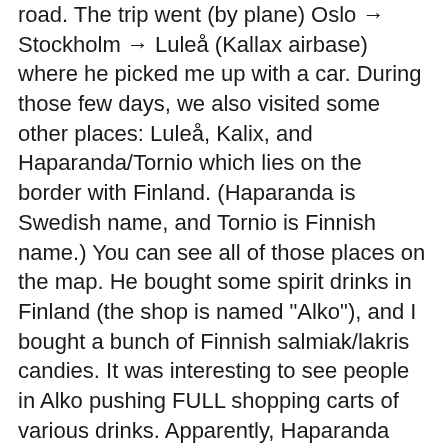road. The trip went (by plane) Oslo → Stockholm → Luleå (Kallax airbase) where he picked me up with a car. During those few days, we also visited some other places: Luleå, Kalix, and Haparanda/Tornio which lies on the border with Finland. (Haparanda is Swedish name, and Tornio is Finnish name.) You can see all of those places on the map. He bought some spirit drinks in Finland (the shop is named "Alko"), and I bought a bunch of Finnish salmiak/lakris candies. It was interesting to see people in Alko pushing FULL shopping carts of various drinks. Apparently, Haparanda has just recently gotten an IKEA shop, which has boosted the local economy. It is the nearest IKEA shop for that part of Sweden and Finland. Otherwise, it's been a very relaxing and interesting weekend, and they even got me to play bowling; the bowling hall was very nice for such a small town.
I was amazed by Swedish roads. Even though we were kinda in the middle of nowhere, the roads were in good shape (no holes or such) and very well cleansed - there was some snow/ice on them, but despite winter conditions it was possible to drive at speeds over 110 km/h (though with "piggdokk" spiked tires). Norwegian roads are really bad...